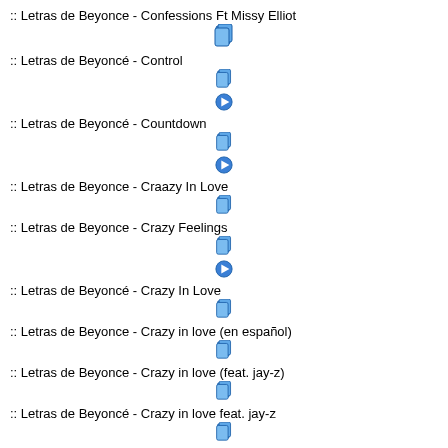:: Letras de Beyonce - Confessions Ft Missy Elliot
:: Letras de Beyoncé - Control
:: Letras de Beyoncé - Countdown
:: Letras de Beyonce - Craazy In Love
:: Letras de Beyonce - Crazy Feelings
:: Letras de Beyoncé - Crazy In Love
:: Letras de Beyonce - Crazy in love (en español)
:: Letras de Beyonce - Crazy in love (feat. jay-z)
:: Letras de Beyoncé - Crazy in love feat. jay-z
:: Letras de Beyonce - Daddy